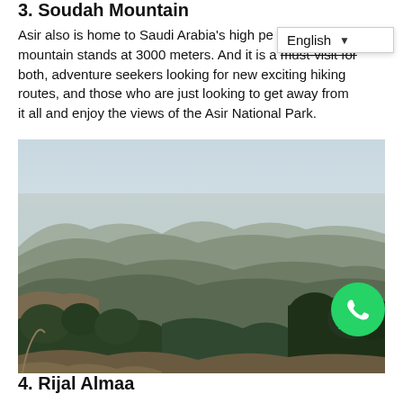3. Soudah Mountain
Asir also is home to Saudi Arabia’s high pe mountain stands at 3000 meters. And it is a must-visit for both, adventure seekers looking for new exciting hiking routes, and those who are just looking to get away from it all and enjoy the views of the Asir National Park.
[Figure (photo): Panoramic mountain landscape photo showing misty green mountain ranges with trees in the foreground and a hazy sky, likely Soudah mountain in Asir, Saudi Arabia.]
4. Rijal Almaa